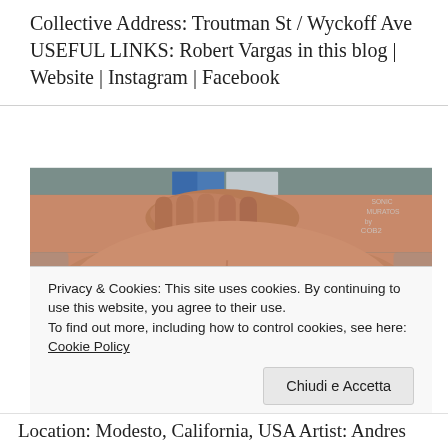Collective Address: Troutman St / Wyckoff Ave USEFUL LINKS: Robert Vargas in this blog | Website | Instagram | Facebook
[Figure (photo): Close-up mural/street art painting of an elderly man's face with glasses, highly realistic, on a building wall. Signature text visible in upper right corner.]
Privacy & Cookies: This site uses cookies. By continuing to use this website, you agree to their use. To find out more, including how to control cookies, see here: Cookie Policy
Chiudi e Accetta
Location: Modesto, California, USA Artist: Andres